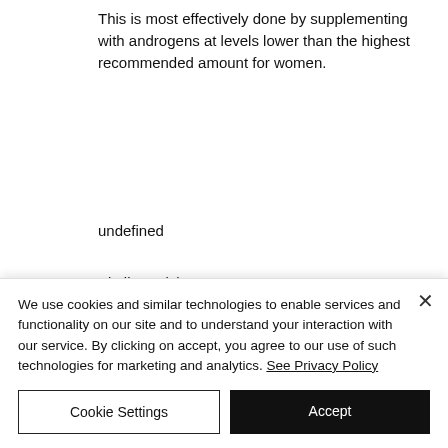This is most effectively done by supplementing with androgens at levels lower than the highest recommended amount for women.
undefined
Similar articles:
https://www.heysocially.co/profile/bancoannf/profile
https://www.baddiieeboutiquee.com/profile/hagnertinnery/profile
We use cookies and similar technologies to enable services and functionality on our site and to understand your interaction with our service. By clicking on accept, you agree to our use of such technologies for marketing and analytics. See Privacy Policy
Cookie Settings
Accept